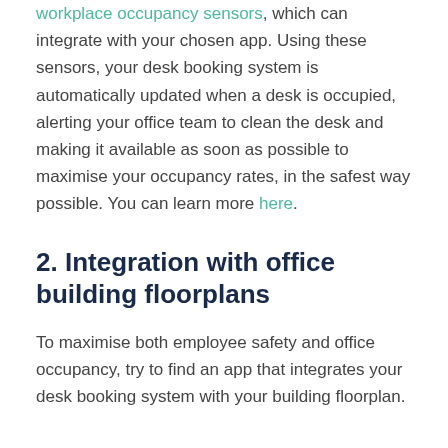workplace occupancy sensors, which can integrate with your chosen app. Using these sensors, your desk booking system is automatically updated when a desk is occupied, alerting your office team to clean the desk and making it available as soon as possible to maximise your occupancy rates, in the safest way possible. You can learn more here.
2. Integration with office building floorplans
To maximise both employee safety and office occupancy, try to find an app that integrates your desk booking system with your building floorplan.